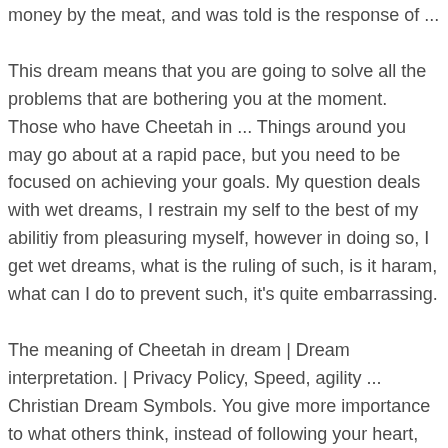money by the meat, and was told is the response of ...
This dream means that you are going to solve all the problems that are bothering you at the moment. Those who have Cheetah in ... Things around you may go about at a rapid pace, but you need to be focused on achieving your goals. My question deals with wet dreams, I restrain my self to the best of my abilitiy from pleasuring myself, however in doing so, I get wet dreams, what is the ruling of such, is it haram, what can I do to prevent such, it's quite embarrassing.
The meaning of Cheetah in dream | Dream interpretation. | Privacy Policy, Speed, agility ... Christian Dream Symbols. You give more importance to what others think, instead of following your heart, you are being greedy about something in life, Stands for your fearlessness and capacity to tackle challenging situations, Also symbolizes your strength and bravery. Reflects your